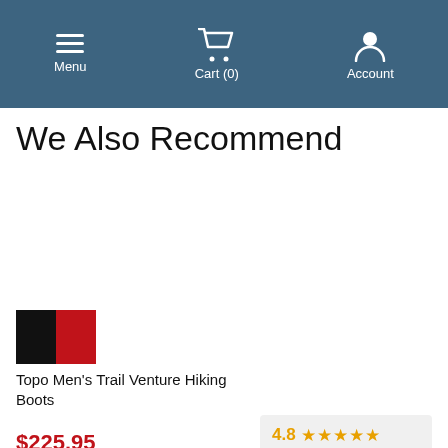Menu | Cart (0) | Account
We Also Recommend
[Figure (photo): Product color swatch image showing black and red sections for Topo Men's Trail Venture Hiking Boots]
Topo Men's Trail Venture Hiking Boots
$225.95
[Figure (other): Google Customer Reviews box showing 4.8 star rating with orange stars]